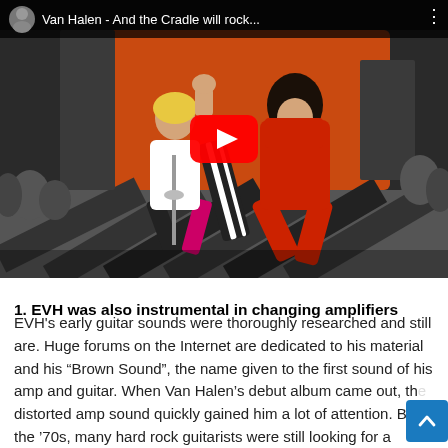[Figure (screenshot): YouTube video thumbnail showing Van Halen performing on stage. Two musicians visible — one with curly hair playing a black-and-white striped guitar wearing a red outfit doing a wide leg stance, and another musician jumping with fist raised. Orange background with audience visible. YouTube play button overlay. Title bar reads: 'Van Halen - And the Cradle will rock...']
1. EVH was also instrumental in changing amplifiers
EVH's early guitar sounds were thoroughly researched and still are. Huge forums on the Internet are dedicated to his material and his "Brown Sound", the name given to the first sound of his amp and guitar. When Van Halen's debut album came out, the distorted amp sound quickly gained him a lot of attention. B... in the '70s, many hard rock guitarists were still looking for a...